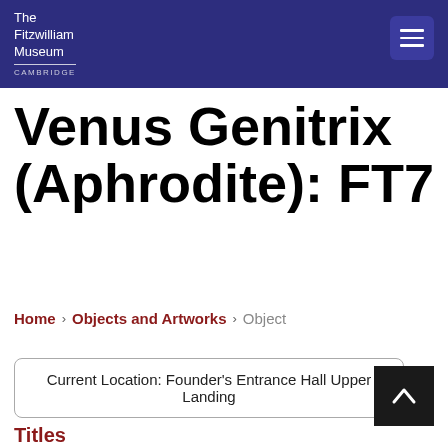The Fitzwilliam Museum CAMBRIDGE
Venus Genitrix (Aphrodite): FT7
Home › Objects and Artworks › Object
Current Location: Founder's Entrance Hall Upper Landing
Titles